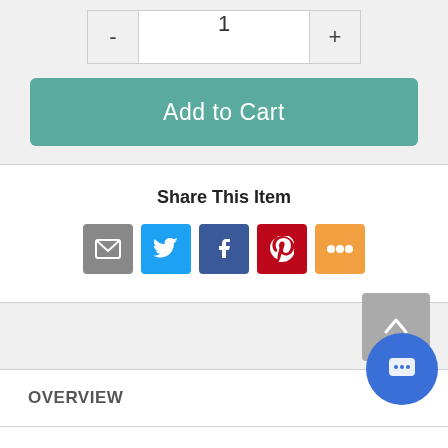[Figure (screenshot): Quantity selector with minus button, number 1, and plus button]
[Figure (screenshot): Add to Cart button in teal/green color]
Share This Item
[Figure (infographic): Social share icons: email (gray), Twitter (blue), Facebook (dark blue), Pinterest (red), More (orange)]
[Figure (screenshot): Back to top arrow button (gray) and chat button (blue circle)]
OVERVIEW
SPECS
VIDEOS